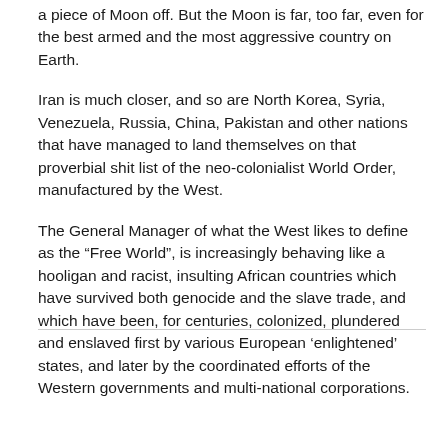a piece of Moon off. But the Moon is far, too far, even for the best armed and the most aggressive country on Earth.
Iran is much closer, and so are North Korea, Syria, Venezuela, Russia, China, Pakistan and other nations that have managed to land themselves on that proverbial shit list of the neo-colonialist World Order, manufactured by the West.
The General Manager of what the West likes to define as the “Free World”, is increasingly behaving like a hooligan and racist, insulting African countries which have survived both genocide and the slave trade, and which have been, for centuries, colonized, plundered and enslaved first by various European ‘enlightened’ states, and later by the coordinated efforts of the Western governments and multi-national corporations.